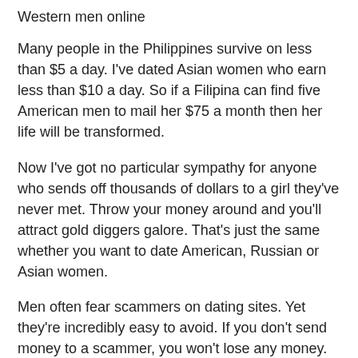Western men online
Many people in the Philippines survive on less than $5 a day. I've dated Asian women who earn less than $10 a day. So if a Filipina can find five American men to mail her $75 a month then her life will be transformed.
Now I've got no particular sympathy for anyone who sends off thousands of dollars to a girl they've never met. Throw your money around and you'll attract gold diggers galore. That's just the same whether you want to date American, Russian or Asian women.
Men often fear scammers on dating sites. Yet they're incredibly easy to avoid. If you don't send money to a scammer, you won't lose any money. Simple as that.